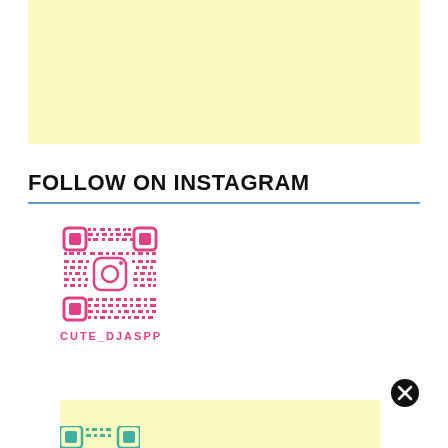[Figure (other): Yellow banner advertisement placeholder at top]
FOLLOW ON INSTAGRAM
[Figure (other): Instagram QR code in pink/magenta color with Instagram logo in center and corner markers]
CUTE_DJASPP
[Figure (other): Close/dismiss button (black circle with white X)]
[Figure (other): Yellow banner advertisement placeholder at bottom]
[Figure (other): Partial Instagram QR code visible at bottom edge]